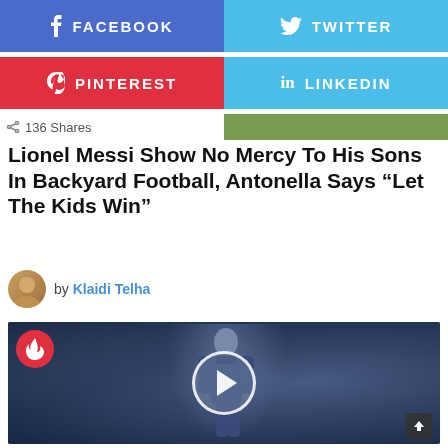[Figure (screenshot): Facebook share button (blue)]
[Figure (screenshot): Twitter share button (light blue)]
[Figure (screenshot): Pinterest share button (red)]
[Figure (screenshot): LinkedIn share button (light blue)]
136 Shares
Lionel Messi Show No Mercy To His Sons In Backyard Football, Antonella Says “Let The Kids Win”
by Klaidi Telha
[Figure (screenshot): Video thumbnail showing Lionel Messi in PSG jersey with play button overlay and fire badge]